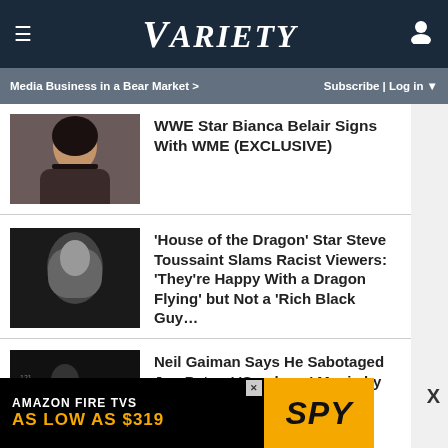VARIETY — Media Business in a Bear Market > | Subscribe | Log in
[Figure (photo): Portrait photo of Bianca Belair]
WWE Star Bianca Belair Signs With WME (EXCLUSIVE)
[Figure (photo): Still from House of the Dragon showing a character with grey hair]
'House of the Dragon' Star Steve Toussaint Slams Racist Viewers: 'They're Happy With a Dragon Flying' but Not a 'Rich Black Guy…
[Figure (photo): Photo of Neil Gaiman at an event]
Neil Gaiman Says He Sabotaged Jon Peters' 'Sandman' Movie by Leaking 'Really Stupid' Script
[Figure (photo): Photo related to Horatio Sanz story]
Horatio Sanz Accuser Claims Jimmy Fallon, Lorne Michaels and Tracy Morgan Enabled Sex
[Figure (infographic): Amazon Fire TVs advertisement — AS LOW AS $319 — SPY logo]